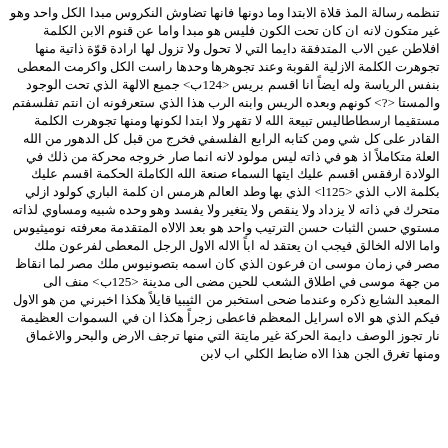تنظمه رسالة المذ قلاة الابتدا وما دونها فانها تضاوش النكروس مبدا الكل واحد وهو غير متكون لانه ان كان تحت الكون فليس هو مبدا واما عن قنوم الابن الكلمة افلاطن عين الاب المتدفقة دايما التي لا تحول ولا تزول لها ارادة قوّة ذاتية منها تجوهرت الكلمة الازلية القوبة وعند تجوهرها وحدها راست الكل واكرمت المعطى بنفس الرياسة وله ايضاً انا اقسم بريس <124ب> جميع الالهة الذي تحت الوجود والمستا <?> كونهم وبعده الريس وابنه الرب هذا الذي ستعرفونه ان انتم تفلسفتم مستقيما ارسطاطاليس تبيعة الله لا تقهر ولا ابتدا لكونها ومنها تجوهرت الكلمة القادر على كل شي ومن كتابه الرابع الفلسفي فخرج من قبل كل الدهور من الله العلة متكاملاً اذ هو في ذاته ليس مولود لانه انما صار خروجه محركة من ذلك في الولادة ارفقس اقسم عليك ايتها السماء صنعة الله الكاملة الحكمة اقسم عليك بكلمة الاب الذي <l125> الذي بها وطد العالم هرمس ان كلمة الباري كولود ازلي متحرك في ذاته لا يزداد ولا ينقص ولا يتغير ولا يفسد وهو وحده شبيه ومساوي لذاته مستوي حسن الثبات حسن الترتيب واحد هو بعد الالاه المتقدمة معرفته نوميثيوس واما الاله الخالق فيجب ان يعتقد له اباً الاله الاول الرجل المعطى لفرعون ملك مصر في زمان موسى ان فرعون الذي كان اسمه بتصونيوس ملك مصر لما انقاظ من جهة موسى في اطلاق الشعب للحين مضى الى مدينة <125ب> منف الى المعبد الشايع ذكره وعندما ضحى استخبر من الثيبيا قايلاً هكذا اخبرني من هو الاول فيكم الذي هو الاه اسرايل المعظم فاعطى زجراً هكذا ان في السموات العظيمة نار تجوز الوصف دايمة الحركة غير مايتة التي منها ترجف الارض والبحر والاغماق ومنها تغرق الجن هذا الاه ضابط الكلي اب لابن